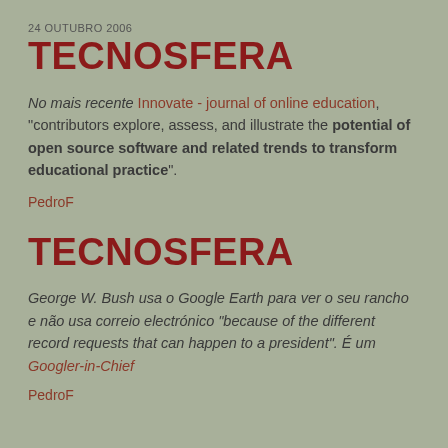24 OUTUBRO 2006
TECNOSFERA
No mais recente Innovate - journal of online education, "contributors explore, assess, and illustrate the potential of open source software and related trends to transform educational practice".
PedroF
TECNOSFERA
George W. Bush usa o Google Earth para ver o seu rancho e não usa correio electrónico "because of the different record requests that can happen to a president". É um Googler-in-Chief
PedroF